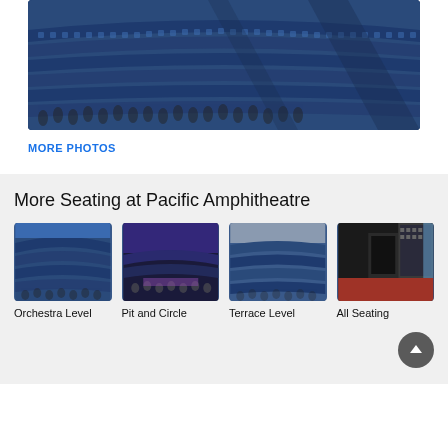[Figure (photo): Wide-angle photo of Pacific Amphitheatre seating rows with blue seats, partially filled with audience members]
MORE PHOTOS
More Seating at Pacific Amphitheatre
[Figure (photo): Orchestra Level seating area thumbnail]
Orchestra Level
[Figure (photo): Pit and Circle seating area thumbnail]
Pit and Circle
[Figure (photo): Terrace Level seating area thumbnail]
Terrace Level
[Figure (photo): All Seating view thumbnail]
All Seating